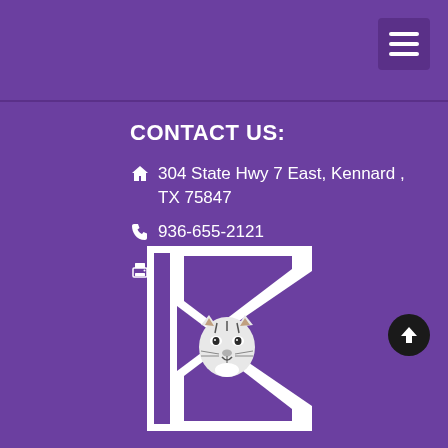Navigation menu button
CONTACT US:
304 State Hwy 7 East, Kennard , TX 75847
936-655-2121
936-655-2327
[Figure (logo): Kennard school logo: large white block letter K with a tiger face illustration in the center, on purple background]